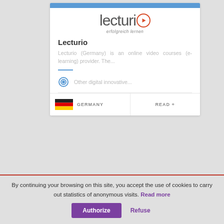[Figure (logo): Lecturio logo with orange play button circle and tagline 'erfolgreich lernen']
Lecturio
Lecturio (Germany) is an online video courses (e-learning) provider. The...
Other digital innovative...
GERMANY
READ +
By continuing your browsing on this site, you accept the use of cookies to carry out statistics of anonymous visits. Read more
Authorize
Refuse